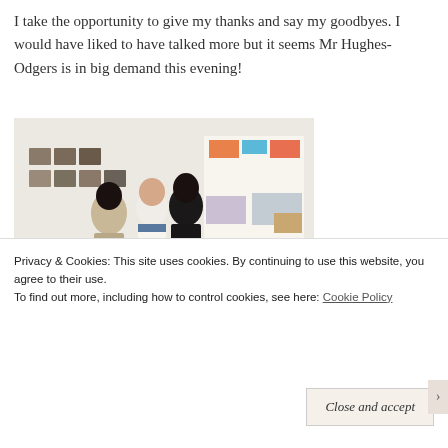I take the opportunity to give my thanks and say my goodbyes. I would have liked to have talked more but it seems Mr Hughes-Odgers is in big demand this evening!
[Figure (photo): People viewing artwork in an art gallery. Visitors stand with their backs to the camera looking at framed works on a white wall. A large colorful abstract painting is visible on the right side. Dark wine bottles are in the lower right corner.]
[Figure (photo): Partial view of an art gallery showing stairs or shelving on the left and a round basket-like object on a yellow mat on the right.]
Privacy & Cookies: This site uses cookies. By continuing to use this website, you agree to their use.
To find out more, including how to control cookies, see here: Cookie Policy
Close and accept